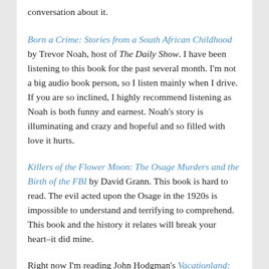conversation about it.
Born a Crime: Stories from a South African Childhood by Trevor Noah, host of The Daily Show. I have been listening to this book for the past several month. I'm not a big audio book person, so I listen mainly when I drive. If you are so inclined, I highly recommend listening as Noah is both funny and earnest. Noah's story is illuminating and crazy and hopeful and so filled with love it hurts.
Killers of the Flower Moon: The Osage Murders and the Birth of the FBI by David Grann. This book is hard to read. The evil acted upon the Osage in the 1920s is impossible to understand and terrifying to comprehend. This book and the history it relates will break your heart–it did mine.
Right now I'm reading John Hodgman's Vacationland: Stories from Painful Beaches. You might remember Hodgman's billionaire act from The Daily Show. I got the rec from Ann Handley's newsletter–and I have to tell you, I love it. This book is exactly what I needed after the heavy and necessary